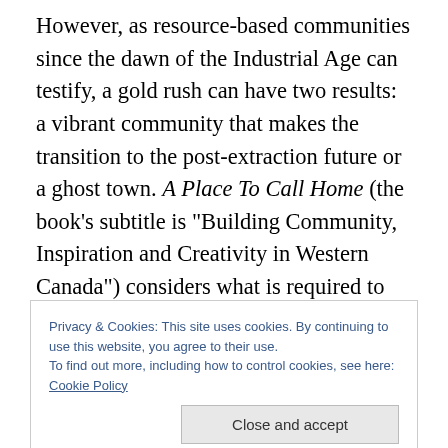However, as resource-based communities since the dawn of the Industrial Age can testify, a gold rush can have two results: a vibrant community that makes the transition to the post-extraction future or a ghost town. A Place To Call Home (the book's subtitle is "Building Community, Inspiration and Creativity in Western Canada") considers what is required to achieve that first outcome. While interviews for the first two books concentrated on traditional leaders in government, community and commerce, those done for this book sought out voices that often are not heard: opera company directors, community
Privacy & Cookies: This site uses cookies. By continuing to use this website, you agree to their use.
To find out more, including how to control cookies, see here: Cookie Policy
need to do to ensure that western Canada is not just an